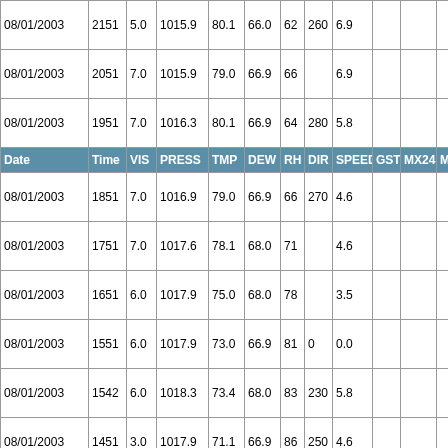| Date | Time | VIS | PRESS | TMP | DEW | RH | DIR | SPEED | GST | MX24 | MN |
| --- | --- | --- | --- | --- | --- | --- | --- | --- | --- | --- | --- |
| 08/01/2003 | 2151 | 5.0 | 1015.9 | 80.1 | 66.0 | 62 | 260 | 6.9 |  |  |  |
| 08/01/2003 | 2051 | 7.0 | 1015.9 | 79.0 | 66.9 | 66 |  | 6.9 |  |  |  |
| 08/01/2003 | 1951 | 7.0 | 1016.3 | 80.1 | 66.9 | 64 | 280 | 5.8 |  |  |  |
| 08/01/2003 | 1851 | 7.0 | 1016.9 | 79.0 | 66.9 | 66 | 270 | 4.6 |  |  |  |
| 08/01/2003 | 1751 | 7.0 | 1017.6 | 78.1 | 68.0 | 71 |  | 4.6 |  |  |  |
| 08/01/2003 | 1651 | 6.0 | 1017.9 | 75.0 | 68.0 | 78 |  | 3.5 |  |  |  |
| 08/01/2003 | 1551 | 6.0 | 1017.9 | 73.0 | 66.9 | 81 | 0 | 0.0 |  |  |  |
| 08/01/2003 | 1542 | 6.0 | 1018.3 | 73.4 | 68.0 | 83 | 230 | 5.8 |  |  |  |
| 08/01/2003 | 1451 | 3.0 | 1017.9 | 71.1 | 66.9 | 86 | 250 | 4.6 |  |  |  |